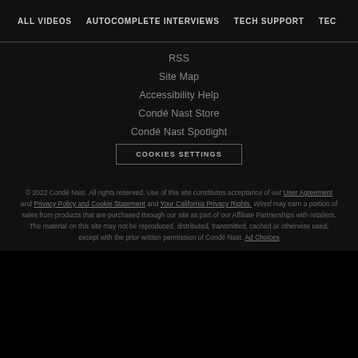ALL VIDEOS   AUTOCOMPLETE INTERVIEWS   TECH SUPPORT   TEC
RSS
Site Map
Accessibility Help
Condé Nast Store
Condé Nast Spotlight
COOKIES SETTINGS
© 2022 Condé Nast. All rights reserved. Use of this site constitutes acceptance of our User Agreement and Privacy Policy and Cookie Statement and Your California Privacy Rights. Wired may earn a portion of sales from products that are purchased through our site as part of our Affiliate Partnerships with retailers. The material on this site may not be reproduced, distributed, transmitted, cached or otherwise used, except with the prior written permission of Condé Nast. Ad Choices